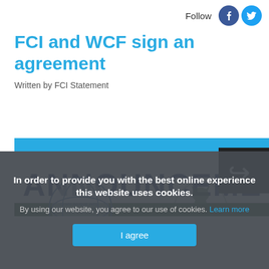Follow
FCI and WCF sign an agreement
Written by FCI Statement
[Figure (illustration): Announcement banner with FCI Cynologique Internationale logo and WCF cat logo. Blue header bar with dark green bar below, text 'ANNOUNCEMENT' in large navy letters, share icon overlay at right.]
In order to provide you with the best online experience this website uses cookies.
By using our website, you agree to our use of cookies. Learn more
I agree